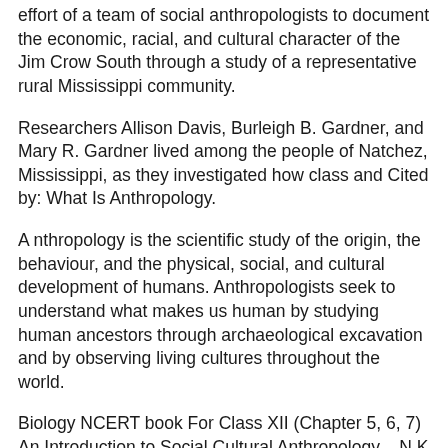effort of a team of social anthropologists to document the economic, racial, and cultural character of the Jim Crow South through a study of a representative rural Mississippi community.
Researchers Allison Davis, Burleigh B. Gardner, and Mary R. Gardner lived among the people of Natchez, Mississippi, as they investigated how class and Cited by: What Is Anthropology.
A nthropology is the scientific study of the origin, the behaviour, and the physical, social, and cultural development of humans. Anthropologists seek to understand what makes us human by studying human ancestors through archaeological excavation and by observing living cultures throughout the world.
Biology NCERT book For Class XII (Chapter 5, 6, 7) An Introduction to Social Cultural Anthropology – N.K Vaid; An Introduction to Social Anthropology – D.N. Majumdar and T.N.
Madan (for basic understating of Anthropology) Anthropological Theories – Makhan Jha; Measuring Ther...